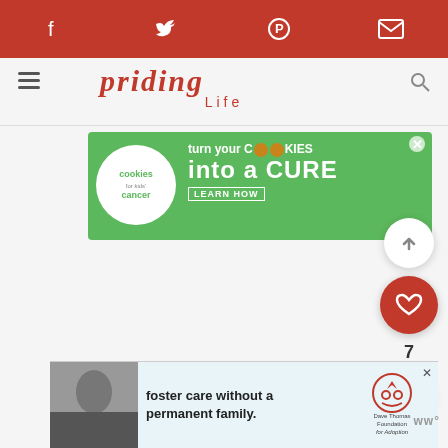Navigation bar with social share icons (Facebook, Twitter, Pinterest, Email) on red background
[Figure (screenshot): Website header with partial cursive logo text and Life subtitle, hamburger menu and search icon]
[Figure (infographic): Cookies for Kids Cancer ad banner: turn your COOKIES into a CURE LEARN HOW, green background]
[Figure (infographic): Floating action buttons: up arrow, heart/save button (red), count 7, share button]
[Figure (infographic): Bottom ad: foster care without a permanent family. Dave Thomas Foundation for Adoption, with grayscale photo of young woman]